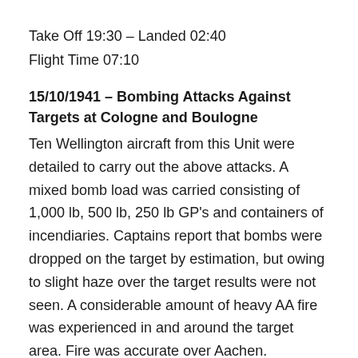Take Off 19:30 – Landed 02:40
Flight Time 07:10
15/10/1941 – Bombing Attacks Against Targets at Cologne and Boulogne
Ten Wellington aircraft from this Unit were detailed to carry out the above attacks. A mixed bomb load was carried consisting of 1,000 lb, 500 lb, 250 lb GP's and containers of incendiaries. Captains report that bombs were dropped on the target by estimation, but owing to slight haze over the target results were not seen. A considerable amount of heavy AA fire was experienced in and around the target area. Fire was accurate over Aachen. Searchlight activity was intense throughout the route but ineffective in the target area because of the cloud. Weather was fair en route but thick ground haze over all target area.